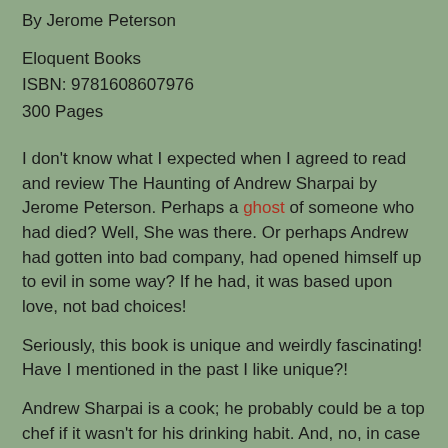By Jerome Peterson
Eloquent Books
ISBN: 9781608607976
300 Pages
I don't know what I expected when I agreed to read and review The Haunting of Andrew Sharpai by Jerome Peterson. Perhaps a ghost of someone who had died? Well, She was there. Or perhaps Andrew had gotten into bad company, had opened himself up to evil in some way? If he had, it was based upon love, not bad choices!
Seriously, this book is unique and weirdly fascinating! Have I mentioned in the past I like unique?!
Andrew Sharpai is a cook; he probably could be a top chef if it wasn't for his drinking habit. And, no, in case you are wondering, he is not haunted by pink elephant hallucinations!
Andrew had just completed his shift and was just tired